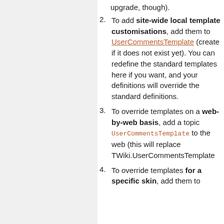upgrade, though).
To add site-wide local template customisations, add them to UserCommentsTemplate (create if it does not exist yet). You can redefine the standard templates here if you want, and your definitions will override the standard definitions.
To override templates on a web-by-web basis, add a topic UserCommentsTemplate to the web (this will replace TWiki.UserCommentsTemplate
To override templates for a specific skin, add them to